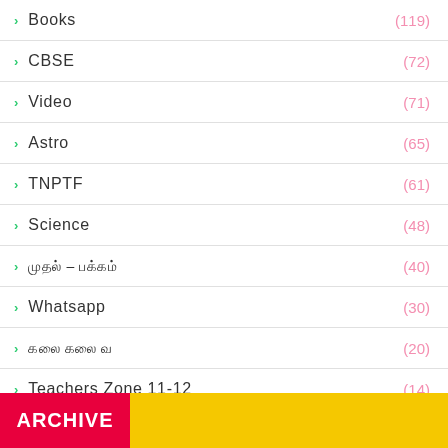Books (119)
CBSE (72)
Video (71)
Astro (65)
TNPTF (61)
Science (48)
Tamil category (40)
Whatsapp (30)
Tamil text (20)
Teachers Zone 11-12 (14)
Games (11)
Tamil text 2 (4)
ARCHIVE